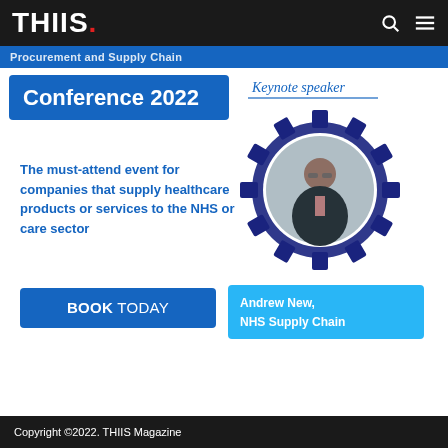THIIS.
Procurement and Supply Chain
Conference 2022
The must-attend event for companies that supply healthcare products or services to the NHS or care sector
BOOK TODAY
[Figure (photo): Keynote speaker Andrew New from NHS Supply Chain shown in a circular frame within a blue gear/cog wheel graphic]
Andrew New,
NHS Supply Chain
Copyright ©2022. THIIS Magazine